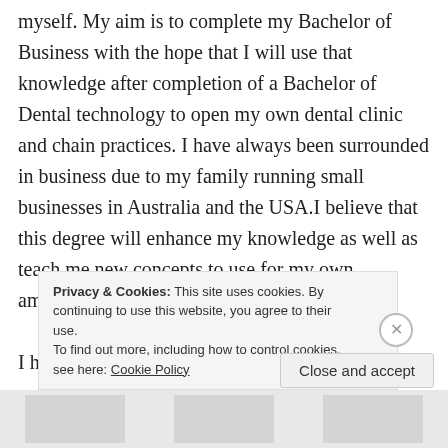myself. My aim is to complete my Bachelor of Business with the hope that I will use that knowledge after completion of a Bachelor of Dental technology to open my own dental clinic and chain practices. I have always been surrounded in business due to my family running small businesses in Australia and the USA.I believe that this degree will enhance my knowledge as well as teach me new concepts to use for my own ambitions.
I have started an online blog as requested it can
Privacy & Cookies: This site uses cookies. By continuing to use this website, you agree to their use.
To find out more, including how to control cookies, see here: Cookie Policy
Close and accept